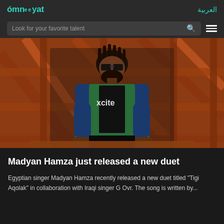omneeyat | العربية
Look for your favorite talent
[Figure (photo): A bearded man wearing sunglasses and a green and blue varsity jacket sitting among orange metal structural beams/scaffolding]
Madyan Hamza just released a new duet
Egyptian singer Madyan Hamza recently released a new duet titled "Tigi Aqolak" in collaboration with Iraqi singer G Ovr. The song is written by...